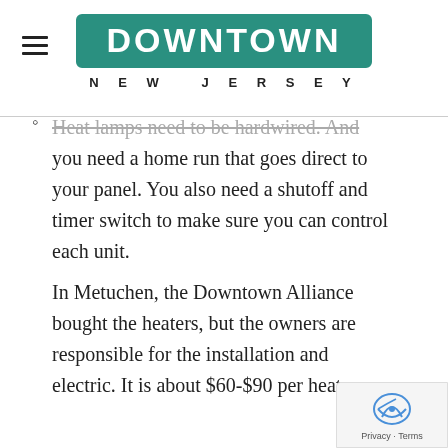DOWNTOWN NEW JERSEY
Heat lamps need to be hardwired. And you need a home run that goes direct to your panel. You also need a shutoff and timer switch to make sure you can control each unit.
In Metuchen, the Downtown Alliance bought the heaters, but the owners are responsible for the installation and electric. It is about $60-$90 per heat